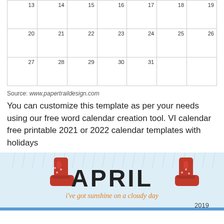|  |  |  |  |  |  |  |
| --- | --- | --- | --- | --- | --- | --- |
| 13 | 14 | 15 | 16 | 17 | 18 | 19 |
| 20 | 21 | 22 | 23 | 24 | 25 | 26 |
| 27 | 28 | 29 | 30 | 31 |  |  |
Source: www.papertraildesign.com
You can customize this template as per your needs using our free word calendar creation tool. VI calendar free printable 2021 or 2022 calendar templates with holidays
[Figure (illustration): April 2019 calendar header with red rain boots, rain drops, 'APRIL' text, and cursive subtitle 'i've got sunshine on a cloudy day', year 2019]